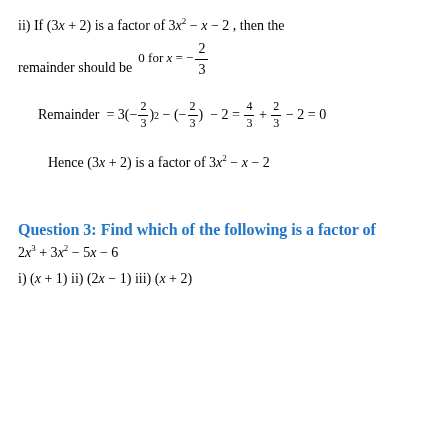ii) If (3x + 2) is a factor of 3x² − x − 2, then the remainder should be 0 for x = −2/3
Hence (3x + 2) is a factor of 3x² − x − 2
Question 3: Find which of the following is a factor of 2x³ + 3x² − 5x − 6
i) (x + 1)  ii) (2x − 1)  iii) (x + 2)